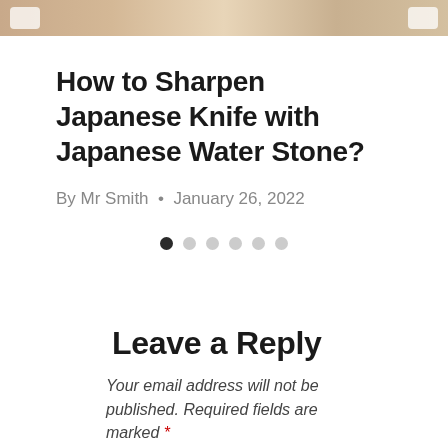[Figure (photo): Partial view of a photo strip showing what appears to be food or Japanese knife-related imagery, with navigation arrows on left and right sides.]
How to Sharpen Japanese Knife with Japanese Water Stone?
By Mr Smith • January 26, 2022
[Figure (infographic): Carousel dot navigation indicator showing 6 dots, first dot is dark/active, remaining 5 are light gray/inactive.]
Leave a Reply
Your email address will not be published. Required fields are marked *